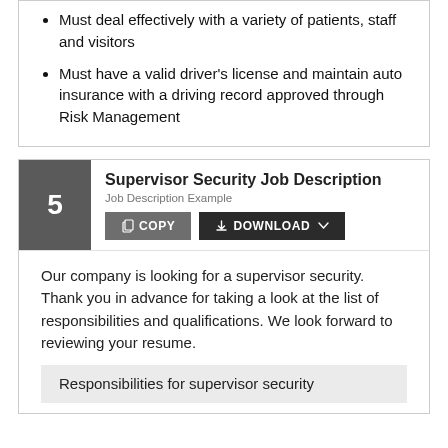Must deal effectively with a variety of patients, staff and visitors
Must have a valid driver's license and maintain auto insurance with a driving record approved through Risk Management
Supervisor Security Job Description
Job Description Example
Our company is looking for a supervisor security. Thank you in advance for taking a look at the list of responsibilities and qualifications. We look forward to reviewing your resume.
Responsibilities for supervisor security